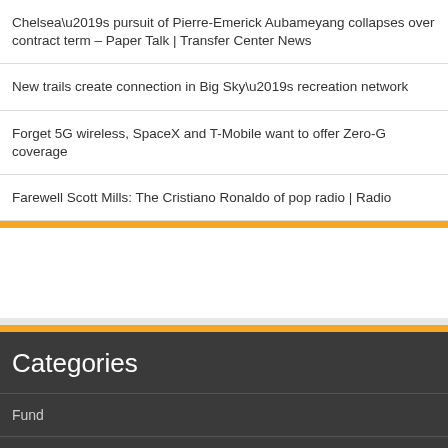Chelsea’s pursuit of Pierre-Emerick Aubameyang collapses over contract term – Paper Talk | Transfer Center News
New trails create connection in Big Sky’s recreation network
Forget 5G wireless, SpaceX and T-Mobile want to offer Zero-G coverage
Farewell Scott Mills: The Cristiano Ronaldo of pop radio | Radio
Categories
Fund
Sky Broadband
Sky Email
Sky Presenters